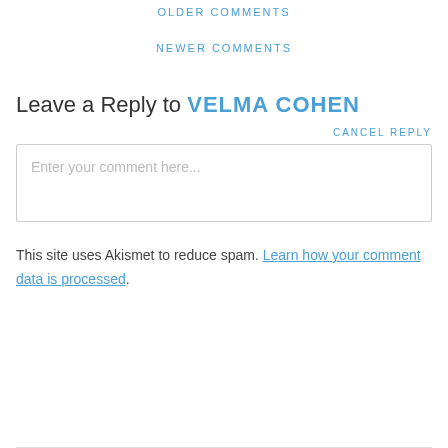OLDER COMMENTS
NEWER COMMENTS
Leave a Reply to VELMA COHEN
CANCEL REPLY
Enter your comment here...
This site uses Akismet to reduce spam. Learn how your comment data is processed.